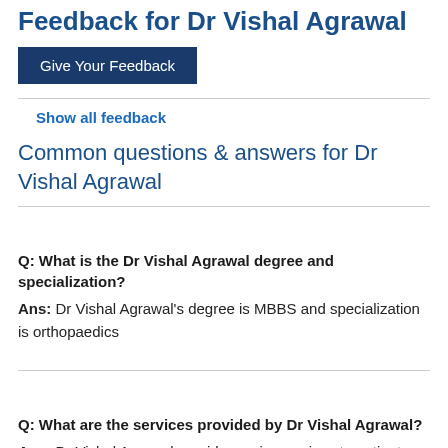Feedback for Dr Vishal Agrawal
Give Your Feedback
Show all feedback
Common questions & answers for Dr Vishal Agrawal
Q: What is the Dr Vishal Agrawal degree and specialization?
Ans: Dr Vishal Agrawal's degree is MBBS and specialization is orthopaedics
Q: What are the services provided by Dr Vishal Agrawal?
Ans: Dr Vishal Agrawal provides major services to patients